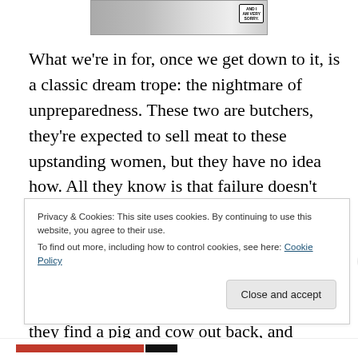[Figure (illustration): Top portion of a comic strip panel showing two figures, with a speech bubble reading 'AND I AM VERY SORRY.']
What we're in for, once we get down to it, is a classic dream trope: the nightmare of unpreparedness. These two are butchers, they're expected to sell meat to these upstanding women, but they have no idea how. All they know is that failure doesn't feel like an acceptable option.
The centerpiece of the book is brutal slapstick horrorshow of incompetence and self-harm. Desperately searching the shop, they find a pig and cow out back, and realize their
Privacy & Cookies: This site uses cookies. By continuing to use this website, you agree to their use.
To find out more, including how to control cookies, see here: Cookie Policy